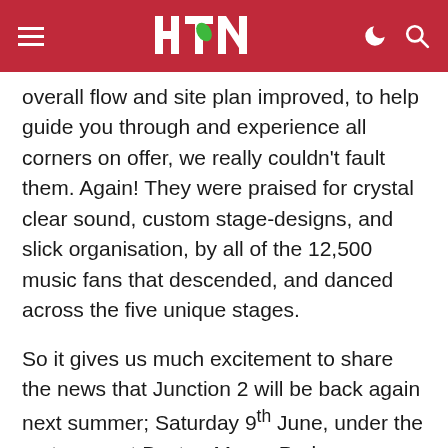HTN logo with hamburger menu, moon icon, and search icon
overall flow and site plan improved, to help guide you through and experience all corners on offer, we really couldn't fault them. Again! They were praised for crystal clear sound, custom stage-designs, and slick organisation, by all of the 12,500 music fans that descended, and danced across the five unique stages.
So it gives us much excitement to share the news that Junction 2 will be back again next summer; Saturday 9th June, under the motorway at Boston Manor Park.